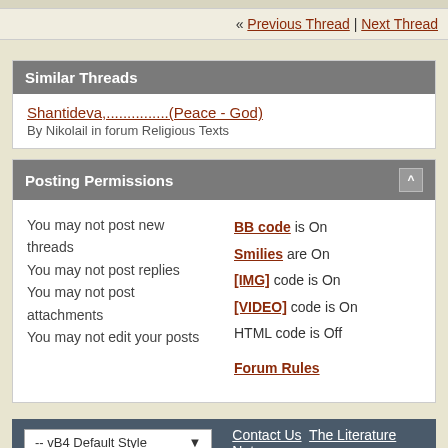« Previous Thread | Next Thread
Similar Threads
Shantideva,...............(Peace - God)
By Nikolail in forum Religious Texts
Posting Permissions
You may not post new threads
You may not post replies
You may not post attachments
You may not edit your posts
BB code is On
Smilies are On
[IMG] code is On
[VIDEO] code is On
HTML code is Off
Forum Rules
-- vB4 Default Style   Contact Us  The Literature Netwo
All times are GMT -4. The time now is 05:5
Powered by: vBulletin, Copyright ©2000 - 2006, Jelsoft E
Site Copyright © 2000-2004 Jalic LLC. All rights